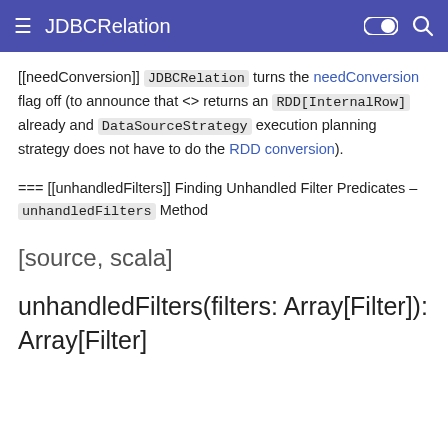JDBCRelation
[[needConversion]] JDBCRelation turns the needConversion flag off (to announce that <> returns an RDD[InternalRow] already and DataSourceStrategy execution planning strategy does not have to do the RDD conversion).
=== [[unhandledFilters]] Finding Unhandled Filter Predicates – unhandledFilters Method
[source, scala]
unhandledFilters(filters: Array[Filter]): Array[Filter]